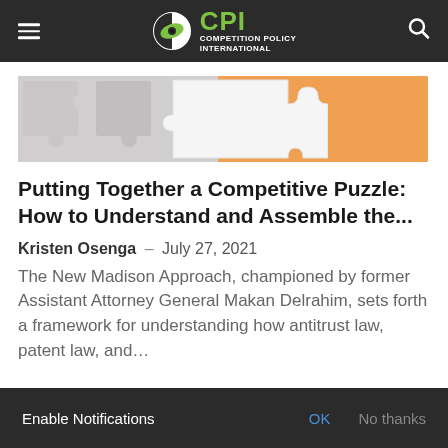CPI COMPETITION POLICY INTERNATIONAL
[Figure (illustration): Hero banner image showing puzzle pieces — grey puzzle pieces on left, orange puzzle piece shape on right background]
Putting Together a Competitive Puzzle: How to Understand and Assemble the...
Kristen Osenga – July 27, 2021
The New Madison Approach, championed by former Assistant Attorney General Makan Delrahim, sets forth a framework for understanding how antitrust law, patent law, and...
Enable Notifications  OK  No thanks